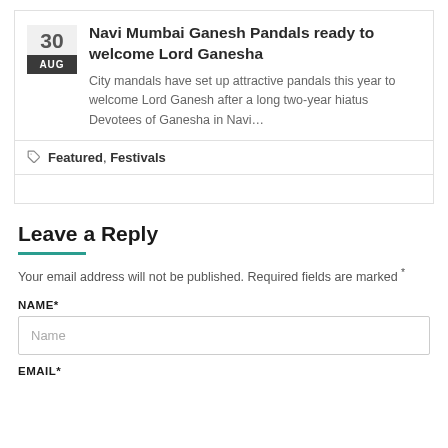Navi Mumbai Ganesh Pandals ready to welcome Lord Ganesha
City mandals have set up attractive pandals this year to welcome Lord Ganesh after a long two-year hiatus Devotees of Ganesha in Navi…
Featured, Festivals
Leave a Reply
Your email address will not be published. Required fields are marked *
NAME*
Name
EMAIL*